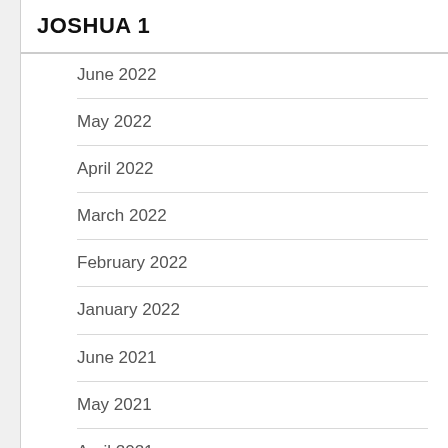JOSHUA 1
June 2022
May 2022
April 2022
March 2022
February 2022
January 2022
June 2021
May 2021
April 2021
March 2021